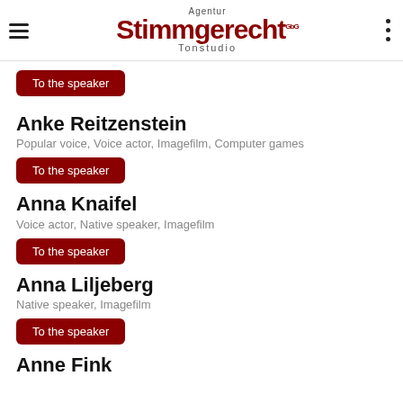Agentur Stimmgerecht Tonstudio
To the speaker
Anke Reitzenstein
Popular voice, Voice actor, Imagefilm, Computer games
To the speaker
Anna Knaifel
Voice actor, Native speaker, Imagefilm
To the speaker
Anna Liljeberg
Native speaker, Imagefilm
To the speaker
Anne Fink